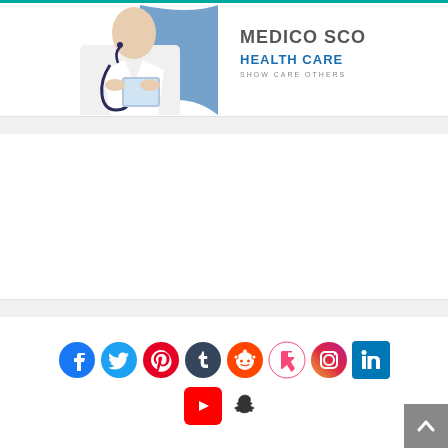[Figure (photo): Doctor or medical professional in white coat with stethoscope, holding a tablet/clipboard. Medico SCO Health Care branding visible with tagline 'SHOW CARE OTHERS'.]
[Figure (infographic): Social media icons row: Facebook, Twitter, Pinterest, Tumblr, Reddit, Foursquare, Instagram, LinkedIn, YouTube, Snapchat]
[Figure (other): Scroll-to-top button (grey arrow up button) in bottom right corner]